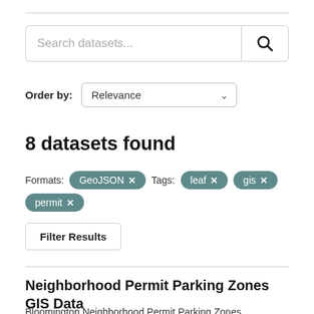[Figure (screenshot): Search datasets input box with search button icon]
Order by: Relevance
8 datasets found
Formats: GeoJSON × Tags: leaf × gis × permit ×
Filter Results
Neighborhood Permit Parking Zones GIS Data
Bloomington Neighborhood Permit Parking Zones